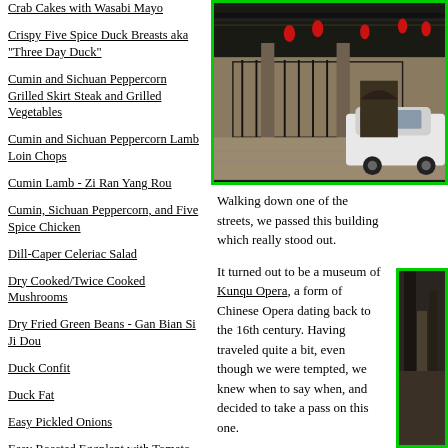Crab Cakes with Wasabi Mayo
Crispy Five Spice Duck Breasts aka "Three Day Duck"
Cumin and Sichuan Peppercorn Grilled Skirt Steak and Grilled Vegetables
Cumin and Sichuan Peppercorn Lamb Loin Chops
Cumin Lamb - Zi Ran Yang Rou
Cumin, Sichuan Peppercorn, and Five Spice Chicken
Dill-Caper Celeriac Salad
Dry Cooked/Twice Cooked Mushrooms
Dry Fried Green Beans - Gan Bian Si Ji Dou
Duck Confit
Duck Fat
Easy Pickled Onions
Easy Roasted Eggplant with Tomato and Greek Yogurt
[Figure (photo): Exterior of a traditional Chinese building with iron gate fence, stone pillars, red lanterns, and a white car parked in front on paved courtyard]
Walking down one of the streets, we passed this building which really stood out.
It turned out to be a museum of Kunqu Opera, a form of Chinese Opera dating back to the 16th century. Having traveled quite a bit, even though we were tempted, we knew when to say when, and decided to take a pass on this one.
[Figure (photo): Partial view of another building or display, cropped at right edge of page]